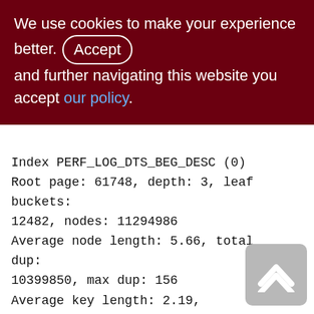We use cookies to make your experience better. By accepting and further navigating this website you accept our policy.
Index PERF_LOG_DTS_BEG_DESC (0)
Root page: 61748, depth: 3, leaf buckets: 12482, nodes: 11294986
Average node length: 5.66, total dup: 10399850, max dup: 156
Average key length: 2.19, compression ratio: 3.64
Average prefix length: 7.85, average data length: 0.14
Clustering factor: 4672226, ratio: 0.41
Fill distribution:
0 - 19% = 9
20 - 39% = 0